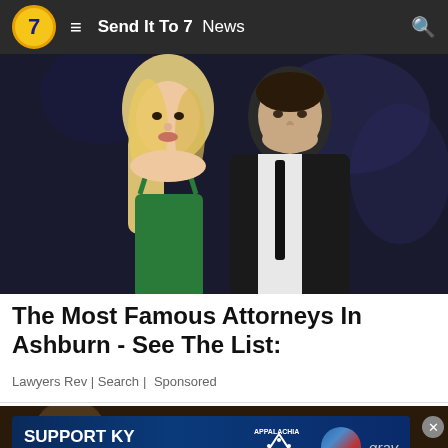Send It To 7  News
[Figure (photo): A blonde woman in a green dress and a dark-haired man in a black suit with a tie, posed together against a dark background.]
The Most Famous Attorneys In Ashburn - See The List:
Lawyers Rev | Search | Sponsored
[Figure (photo): A partially visible person against a dark background, with a SUPPORT KY FLOOD RELIEF advertisement banner overlay showing Appalachia Rises and gray logos.]